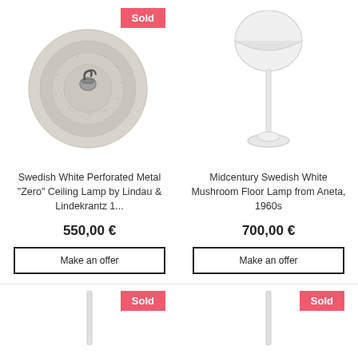[Figure (photo): Swedish White Perforated Metal ceiling lamp close-up, circular woven/perforated texture with center mount, with a red Sold badge in the top right corner]
Swedish White Perforated Metal "Zero" Ceiling Lamp by Lindau & Lindekrantz 1...
550,00 €
Make an offer
[Figure (photo): Midcentury Swedish White Mushroom Floor Lamp from Aneta, 1960s — white dome shade on thin white pole with circular base]
Midcentury Swedish White Mushroom Floor Lamp from Aneta, 1960s
700,00 €
Make an offer
[Figure (photo): Partial view of another item with a red Sold badge]
[Figure (photo): Partial view of another item with a red Sold badge]